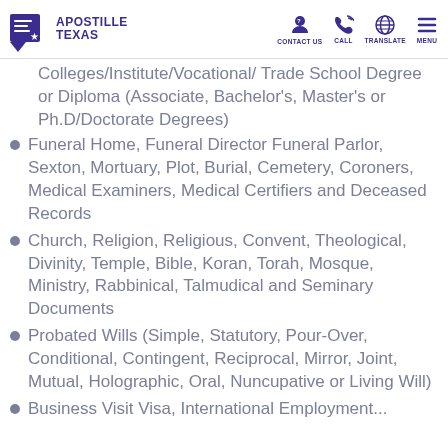Apostille Texas — CONTACT US | CALL | TRANSLATE | MENU
Colleges/Institute/Vocational/ Trade School Degree or Diploma (Associate, Bachelor's, Master's or Ph.D/Doctorate Degrees)
Funeral Home, Funeral Director Funeral Parlor, Sexton, Mortuary, Plot, Burial, Cemetery, Coroners, Medical Examiners, Medical Certifiers and Deceased Records
Church, Religion, Religious, Convent, Theological, Divinity, Temple, Bible, Koran, Torah, Mosque, Ministry, Rabbinical, Talmudical and Seminary Documents
Probated Wills (Simple, Statutory, Pour-Over, Conditional, Contingent, Reciprocal, Mirror, Joint, Mutual, Holographic, Oral, Nuncupative or Living Will)
Business Visit Visa, International Employment...